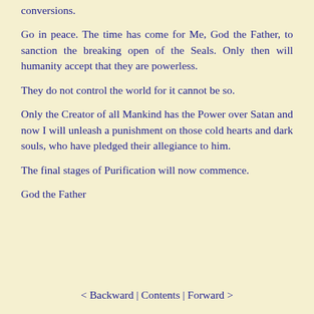conversions.
Go in peace. The time has come for Me, God the Father, to sanction the breaking open of the Seals. Only then will humanity accept that they are powerless.
They do not control the world for it cannot be so.
Only the Creator of all Mankind has the Power over Satan and now I will unleash a punishment on those cold hearts and dark souls, who have pledged their allegiance to him.
The final stages of Purification will now commence.
God the Father
< Backward | Contents | Forward >